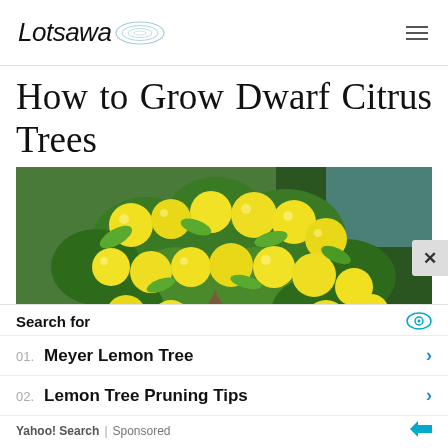Lotsawa [logo]
How to Grow Dwarf Citrus Trees
[Figure (photo): A dwarf citrus tree heavily laden with large yellow lemons/grapefruits, with green leaves and dark hedgerow bushes in the background.]
Search for
01. Meyer Lemon Tree
02. Lemon Tree Pruning Tips
Yahoo! Search | Sponsored